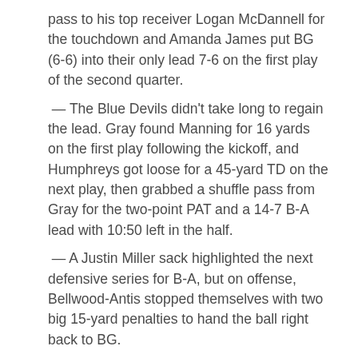pass to his top receiver Logan McDannell for the touchdown and Amanda James put BG (6-6) into their only lead 7-6 on the first play of the second quarter.
— The Blue Devils didn't take long to regain the lead. Gray found Manning for 16 yards on the first play following the kickoff, and Humphreys got loose for a 45-yard TD on the next play, then grabbed a shuffle pass from Gray for the two-point PAT and a 14-7 B-A lead with 10:50 left in the half.
— A Justin Miller sack highlighted the next defensive series for B-A, but on offense, Bellwood-Antis stopped themselves with two big 15-yard penalties to hand the ball right back to BG.